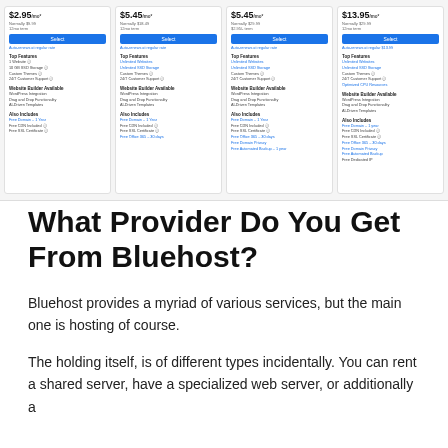[Figure (screenshot): Screenshot of Bluehost pricing plans showing 4 columns: $2.95/mo, $5.45/mo, $5.45/mo, $13.95/mo with features listed under each plan including website builder, top features, and also includes sections.]
What Provider Do You Get From Bluehost?
Bluehost provides a myriad of various services, but the main one is hosting of course.
The holding itself, is of different types incidentally. You can rent a shared server, have a specialized web server, or additionally a